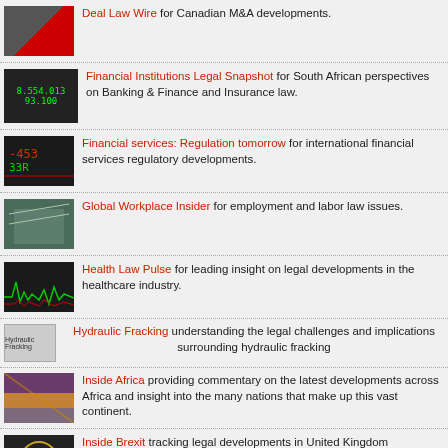Deal Law Wire for Canadian M&A developments.
Financial Institutions Legal Snapshot for South African perspectives on Banking & Finance and Insurance law.
Financial services: Regulation tomorrow for international financial services regulatory developments.
Global Workplace Insider for employment and labor law issues.
Health Law Pulse for leading insight on legal developments in the healthcare industry.
Hydraulic Fracking understanding the legal challenges and implications surrounding hydraulic fracking
Inside Africa providing commentary on the latest developments across Africa and insight into the many nations that make up this vast continent.
Inside Brexit tracking legal developments in United Kingdom
Inside Sports Law provides up-to-date legal and business commentary on key sporting topics from across the globe.
Les Actifs créatifs for the latest developments in intellectual property (blog in French).
Patent Challenges for analysis of USPTO post-issuance proceedings